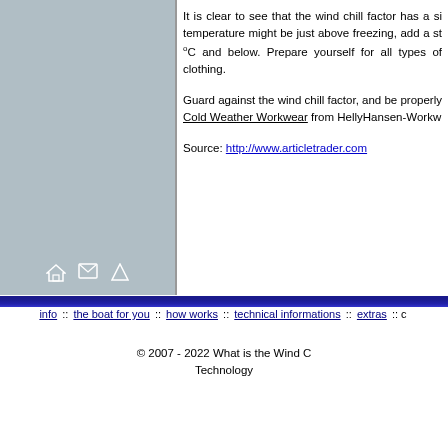[Figure (other): Light blue-grey sidebar panel with navigation icons (home, email, up arrow) at the bottom]
It is clear to see that the wind chill factor has a si... temperature might be just above freezing, add a st... °C and below. Prepare yourself for all types of clothing.
Guard against the wind chill factor, and be properly... Cold Weather Workwear from HellyHansen-Workw...
Source: http://www.articletrader.com
info :: the boat for you :: how works :: technical informations :: extras :: c...
© 2007 - 2022 What is the Wind C... Technology